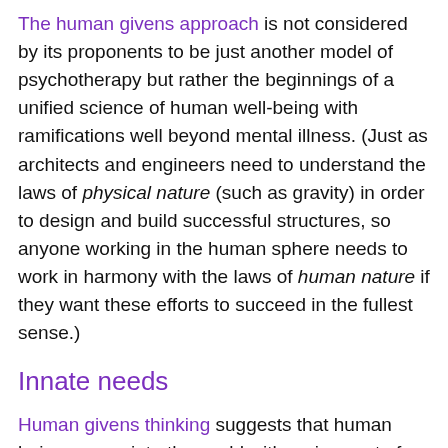The human givens approach is not considered by its proponents to be just another model of psychotherapy but rather the beginnings of a unified science of human well-being with ramifications well beyond mental illness. (Just as architects and engineers need to understand the laws of physical nature (such as gravity) in order to design and build successful structures, so anyone working in the human sphere needs to work in harmony with the laws of human nature if they want these efforts to succeed in the fullest sense.)
Innate needs
Human givens thinking suggests that human beings come into the world with a given set of innate needs, together with innate resources to